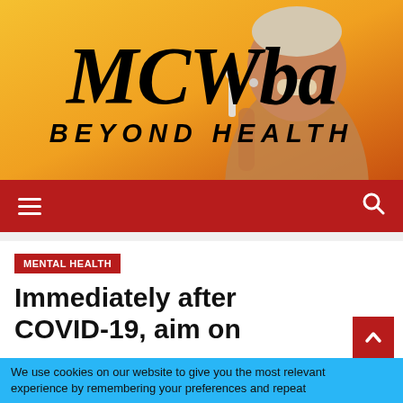[Figure (logo): MCWba Beyond Health website header banner with logo text on yellow/orange background with a person smiling holding a toothbrush]
MCWba BEYOND HEALTH
Navigation bar with hamburger menu and search icon
MENTAL HEALTH
Immediately after COVID-19, aim on
We use cookies on our website to give you the most relevant experience by remembering your preferences and repeat